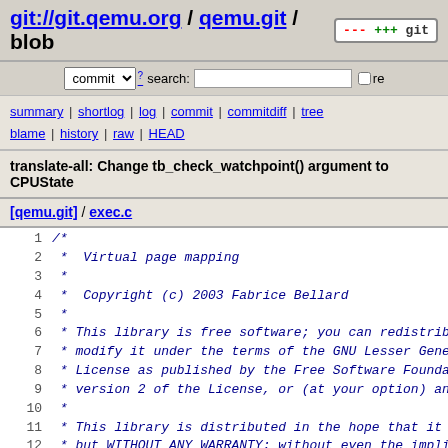git://git.qemu.org / qemu.git / blob
commit search: re
summary | shortlog | log | commit | commitdiff | tree blame | history | raw | HEAD
translate-all: Change tb_check_watchpoint() argument to CPUState
[qemu.git] / exec.c
1 /*
2  *  Virtual page mapping
3  *
4  *  Copyright (c) 2003 Fabrice Bellard
5  *
6  * This library is free software; you can redistribute
7  * modify it under the terms of the GNU Lesser General
8  * License as published by the Free Software Foundation
9  * version 2 of the License, or (at your option) any la
10 *
11 * This library is distributed in the hope that it will
12 * but WITHOUT ANY WARRANTY; without even the implied w
13 * MERCHANTABILITY or FITNESS FOR A PARTICULAR PURPOSE.
14 * Lesser General Public License for more details.
15 *
16 * You should have received a copy of the GNU Lesser Ge
17 * License along with this library; if not, see <http:
18 */